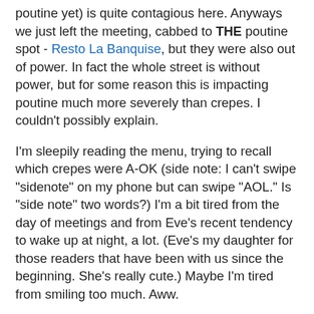poutine yet) is quite contagious here. Anyways we just left the meeting, cabbed to THE poutine spot - Resto La Banquise, but they were also out of power. In fact the whole street is without power, but for some reason this is impacting poutine much more severely than crepes. I couldn't possibly explain.
I'm sleepily reading the menu, trying to recall which crepes were A-OK (side note: I can't swipe "sidenote" on my phone but can swipe "AOL." Is "side note" two words?) I'm a bit tired from the day of meetings and from Eve's recent tendency to wake up at night, a lot. (Eve's my daughter for those readers that have been with us since the beginning. She's really cute.) Maybe I'm tired from smiling too much. Aww.
Then, I spot it! The crepe. Crepe au glace, or crepe with ice cream. Boom, good Samaritan rescuing the melting ice cream and a tasty crepe for me.
The waitress comes by to take my order, so I do it up in my best French accent. And because I'm polite I add, "por favor."